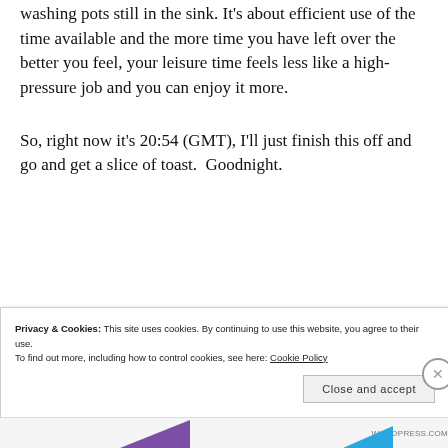washing pots still in the sink. It’s about efficient use of the time available and the more time you have left over the better you feel, your leisure time feels less like a high-pressure job and you can enjoy it more.
So, right now it’s 20:54 (GMT), I’ll just finish this off and go and get a slice of toast.  Goodnight.
Privacy & Cookies: This site uses cookies. By continuing to use this website, you agree to their use.
To find out more, including how to control cookies, see here: Cookie Policy
Close and accept